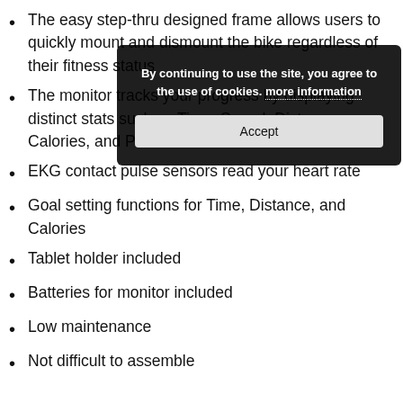The easy step-thru designed frame allows users to quickly mount and dismount the bike regardless of their fitness status
The monitor tracks your progress by displaying distinct stats such as Time, Speed, Distance, Calories, and Pulse
EKG contact pulse sensors read your heart rate
Goal setting functions for Time, Distance, and Calories
Tablet holder included
Batteries for monitor included
Low maintenance
Not difficult to assemble